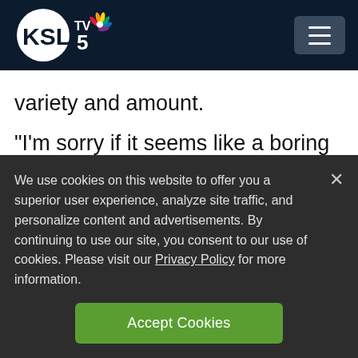KSL TV 5
variety and amount.
“I’m sorry if it seems like a boring recommendation,” she added, but for most people, the most important diet advice “should be to maintain a healthy weight, to
We use cookies on this website to offer you a superior user experience, analyze site traffic, and personalize content and advertisements. By continuing to use our site, you consent to our use of cookies. Please visit our Privacy Policy for more information.
Accept Cookies